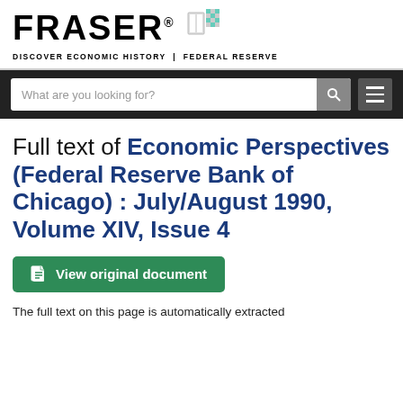FRASER® DISCOVER ECONOMIC HISTORY | FEDERAL RESERVE
Full text of Economic Perspectives (Federal Reserve Bank of Chicago) : July/August 1990, Volume XIV, Issue 4
View original document
The full text on this page is automatically extracted